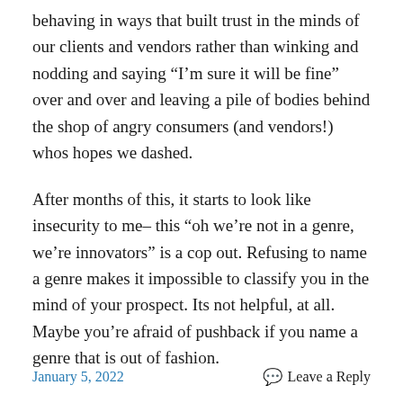behaving in ways that built trust in the minds of our clients and vendors rather than winking and nodding and saying “I’m sure it will be fine” over and over and leaving a pile of bodies behind the shop of angry consumers (and vendors!) whos hopes we dashed.
After months of this, it starts to look like insecurity to me– this “oh we’re not in a genre, we’re innovators” is a cop out. Refusing to name a genre makes it impossible to classify you in the mind of your prospect. Its not helpful, at all. Maybe you’re afraid of pushback if you name a genre that is out of fashion.
January 5, 2022    Leave a Reply